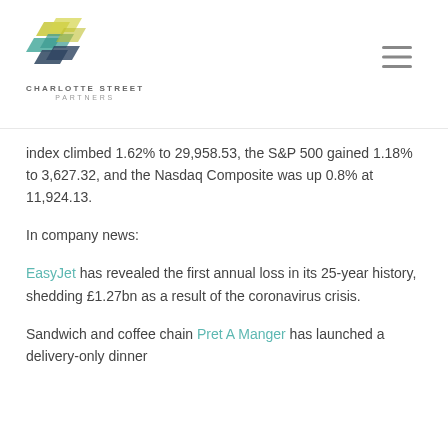[Figure (logo): Charlotte Street Partners logo — geometric interlocking shapes in yellow-green, teal, and dark blue-grey, with text 'CHARLOTTE STREET PARTNERS' below]
index climbed 1.62% to 29,958.53, the S&P 500 gained 1.18% to 3,627.32, and the Nasdaq Composite was up 0.8% at 11,924.13.
In company news:
EasyJet has revealed the first annual loss in its 25-year history, shedding £1.27bn as a result of the coronavirus crisis.
Sandwich and coffee chain Pret A Manger has launched a delivery-only dinner